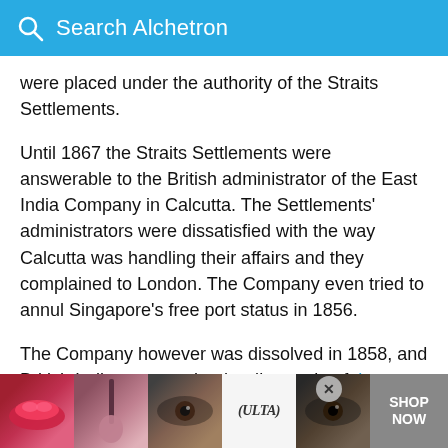Search Alchetron
were placed under the authority of the Straits Settlements.
Until 1867 the Straits Settlements were answerable to the British administrator of the East India Company in Calcutta. The Settlements' administrators were dissatisfied with the way Calcutta was handling their affairs and they complained to London. The Company even tried to annul Singapore's free port status in 1856.
The Company however was dissolved in 1858, and British India came under the direct rule of the Crown: in e... wanin...
[Figure (other): Advertisement banner for Ulta Beauty with cosmetic product images (lips, makeup brush, eye, Ulta logo, eye) and SHOP NOW text with id-19 label]